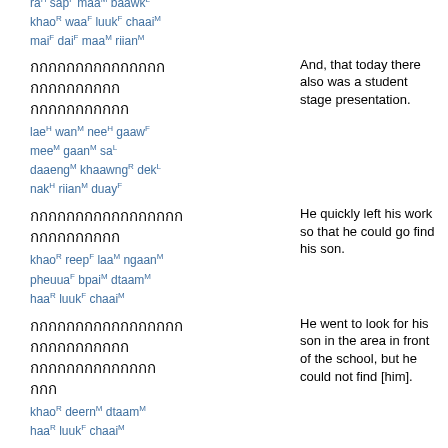ra sap maa baawk
khao waa luuk chaai
mai dai maa riian
[Thai script] And, that today there also was a student stage presentation. lae wan nee gaaw mee gaan sa daaeng khaawng dek nak riian duay
[Thai script] He quickly left his work so that he could go find his son. khao reep laa ngaan pheuua bpai dtaam haa luuk chaai
[Thai script] He went to look for his son in the area in front of the school, but he could not find [him]. khao deern dtaam haa luuk chaai